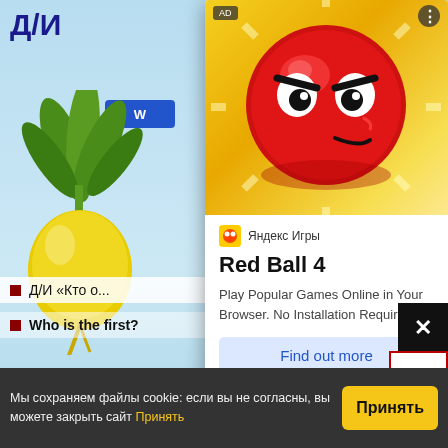[Figure (screenshot): Screenshot of a Russian educational website showing a game page with Cyrillic title text, a turnip illustration on the left, and a Baba Yaga illustration on the right, with list items at the bottom]
[Figure (screenshot): Ad popup overlay for 'Red Ball 4' game from Яндекс Игры (Yandex Games), showing a red angry ball on yellow background, game title in bold, description text, and 'Find out more' CTA button]
AD
Red Ball 4
Яндекс Игры
Play Popular Games Online in Your Browser. No Installation Required
Find out more
Д/И «Кто о...
Who is the first?
Мы сохраняем файлы cookie: если вы не согласны, вы можете закрыть сайт Принять
Принять